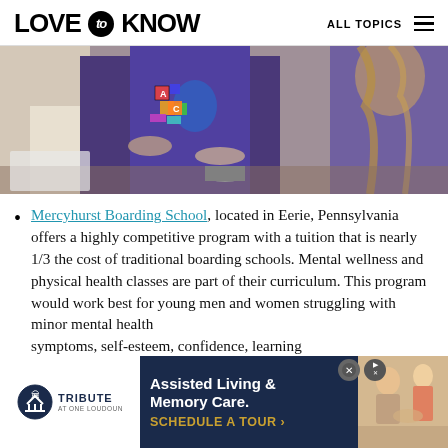LOVE to KNOW — ALL TOPICS
[Figure (photo): Students in school uniforms working with colorful building blocks at a table]
Mercyhurst Boarding School, located in Eerie, Pennsylvania offers a highly competitive program with a tuition that is nearly 1/3 the cost of traditional boarding schools. Mental wellness and physical health classes are part of their curriculum. This program would work best for young men and women struggling with minor mental health symptoms, self esteem, confidence, learning
[Figure (advertisement): Tribute at One Loudoun — Assisted Living & Memory Care. SCHEDULE A TOUR advertisement banner]